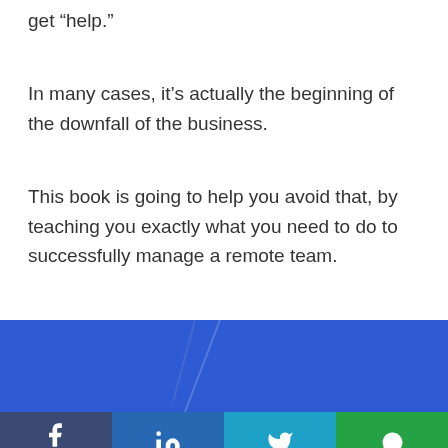get “help.”
In many cases, it’s actually the beginning of the downfall of the business.
This book is going to help you avoid that, by teaching you exactly what you need to do to successfully manage a remote team.
[Figure (other): Blue social sharing bar with diagonal decorative line]
[Figure (other): Social media icon bar: Facebook (374), LinkedIn, Twitter, WhatsApp]